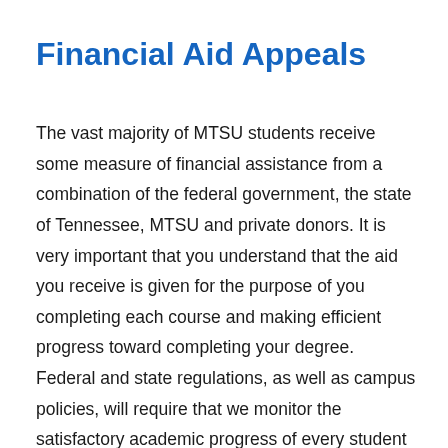Financial Aid Appeals
The vast majority of MTSU students receive some measure of financial assistance from a combination of the federal government, the state of Tennessee, MTSU and private donors. It is very important that you understand that the aid you receive is given for the purpose of you completing each course and making efficient progress toward completing your degree. Federal and state regulations, as well as campus policies, will require that we monitor the satisfactory academic progress of every student who receives financial aid. Failing to achieve acceptable grades, failing to make timely progress toward your degree, establishing a pattern of enrolling in but not finishing classes, or failing to meet any other requirements of